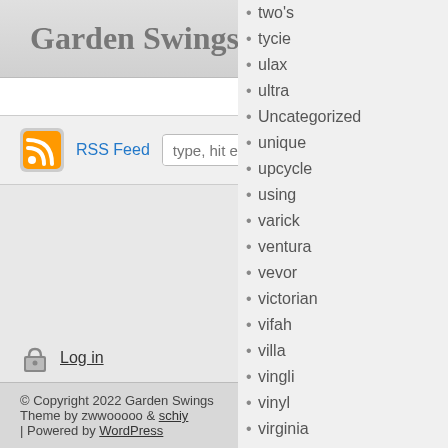Garden Swings
Home
RSS Feed  type, hit enter
Log in
© Copyright 2022 Garden Swings
Theme by zwwooooo & schiy
| Powered by WordPress
two's
tycie
ulax
ultra
Uncategorized
unique
upcycle
using
varick
ventura
vevor
victorian
vifah
villa
vingli
vinyl
virginia
vivohome
wagon
wall